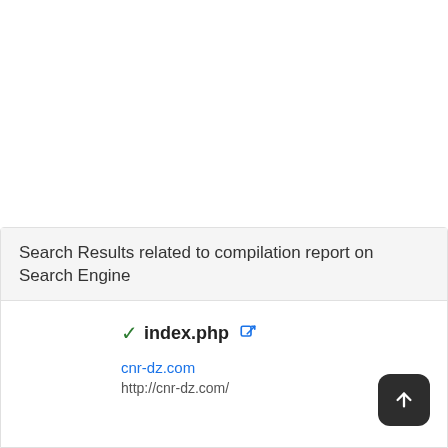Search Results related to compilation report on Search Engine
✓index.php 🔗
cnr-dz.com
http://cnr-dz.com/